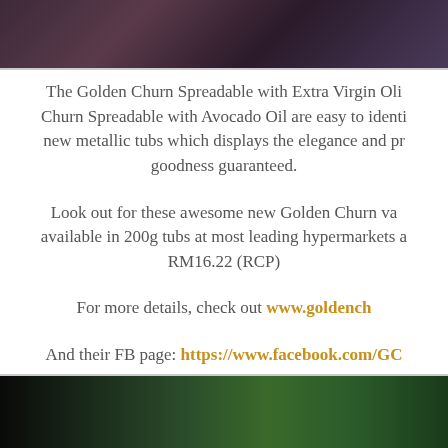[Figure (photo): Top portion of a photo showing people in colorful clothing/fabric with decorative patterns, dark background]
The Golden Churn Spreadable with Extra Virgin Oli... Churn Spreadable with Avocado Oil are easy to identi... new metallic tubs which displays the elegance and pr... goodness guaranteed.
Look out for these awesome new Golden Churn va... available in 200g tubs at most leading hypermarkets a... RM16.22 (RCP)
For more details, check out www.goldench...
And their FB page: https://www.facebook.com/GC...
[Figure (photo): Bottom portion of a photo showing green grass/plant shoots against a dark background]